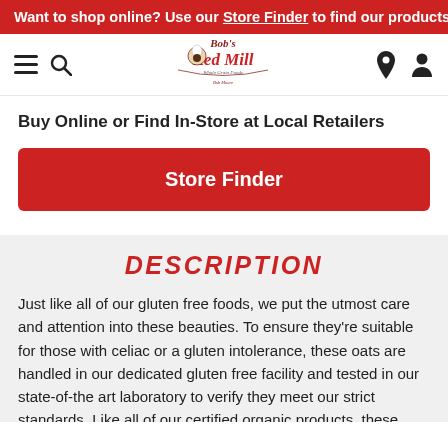Want to shop online? Use our Store Finder to find our products
[Figure (logo): Bob's Red Mill logo with chef illustration]
Buy Online or Find In-Store at Local Retailers
Store Finder
DESCRIPTION
Just like all of our gluten free foods, we put the utmost care and attention into these beauties. To ensure they’re suitable for those with celiac or a gluten intolerance, these oats are handled in our dedicated gluten free facility and tested in our state-of-the art laboratory to verify they meet our strict standards. Like all of our certified organic products, these oats meet the strict requirements of the USDA’s Organic